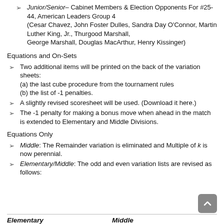Junior/Senior– Cabinet Members & Election Opponents For #25-44, American Leaders Group 4 (Cesar Chavez, John Foster Dulles, Sandra Day O'Connor, Martin Luther King, Jr., Thurgood Marshall, George Marshall, Douglas MacArthur, Henry Kissinger)
Equations and On-Sets
Two additional items will be printed on the back of the variation sheets: (a) the last cube procedure from the tournament rules (b) the list of -1 penalties.
A slightly revised scoresheet will be used. (Download it here.)
The -1 penalty for making a bonus move when ahead in the match is extended to Elementary and Middle Divisions.
Equations Only
Middle: The Remainder variation is eliminated and Multiple of k is now perennial.
Elementary/Middle: The odd and even variation lists are revised as follows:
| Elementary | Middle |
| --- | --- |